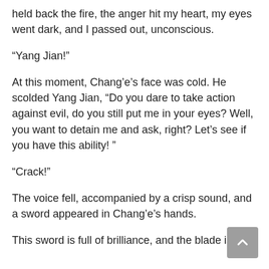held back the fire, the anger hit my heart, my eyes went dark, and I passed out, unconscious.
“Yang Jian!”
At this moment, Chang’e’s face was cold. He scolded Yang Jian, “Do you dare to take action against evil, do you still put me in your eyes? Well, you want to detain me and ask, right? Let’s see if you have this ability! ”
“Crack!”
The voice fell, accompanied by a crisp sound, and a sword appeared in Chang’e’s hands.
This sword is full of brilliance, and the blade is